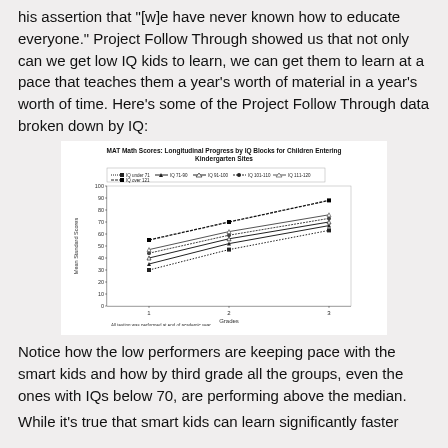his assertion that "[w]e have never known how to educate everyone." Project Follow Through showed us that not only can we get low IQ kids to learn, we can get them to learn at a pace that teaches them a year's worth of material in a year's worth of time. Here's some of the Project Follow Through data broken down by IQ:
[Figure (line-chart): Line chart showing MAT Math Scores longitudinal progress by IQ blocks for children entering kindergarten sites, grades 1-3. All testing was performed at end of academic year.]
Notice how the low performers are keeping pace with the smart kids and how by third grade all the groups, even the ones with IQs below 70, are performing above the median.
While it's true that smart kids can learn significantly faster